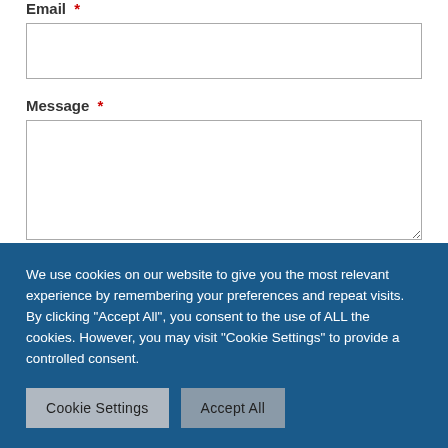Email *
Message *
Get in touch
We use cookies on our website to give you the most relevant experience by remembering your preferences and repeat visits. By clicking “Accept All”, you consent to the use of ALL the cookies. However, you may visit "Cookie Settings" to provide a controlled consent.
Cookie Settings
Accept All